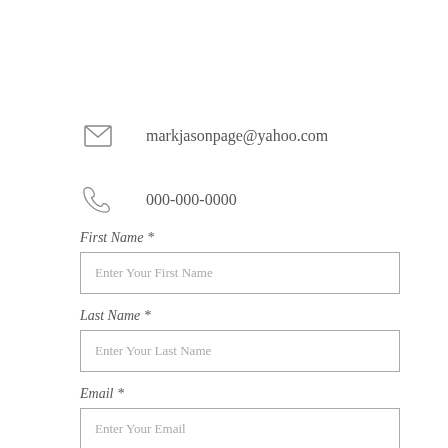markjasonpage@yahoo.com
000-000-0000
First Name *
Enter Your First Name
Last Name *
Enter Your Last Name
Email *
Enter Your Email